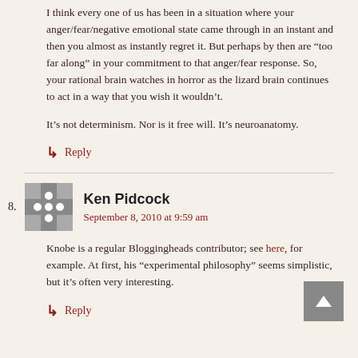I think every one of us has been in a situation where your anger/fear/negative emotional state came through in an instant and then you almost as instantly regret it. But perhaps by then are “too far along” in your commitment to that anger/fear response. So, your rational brain watches in horror as the lizard brain continues to act in a way that you wish it wouldn’t.
It’s not determinism. Nor is it free will. It’s neuroanatomy.
Reply
Ken Pidcock
September 8, 2010 at 9:59 am
Knobe is a regular Bloggingheads contributor; see here, for example. At first, his “experimental philosophy” seems simplistic, but it’s often very interesting.
Reply